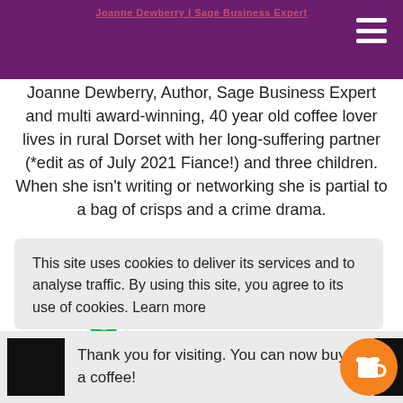Header navigation bar with hamburger menu
Joanne Dewberry, Author, Sage Business Expert and multi award-winning, 40 year old coffee lover lives in rural Dorset with her long-suffering partner (*edit as of July 2021 Fiance!) and three children. When she isn't writing or networking she is partial to a bag of crisps and a crime drama.
[Figure (logo): Sage Business Expert logo — green italic 'sage' wordmark with vertical divider and grey 'Business Expert' text]
This site uses cookies to deliver its services and to analyse traffic. By using this site, you agree to its use of cookies. Learn more
Thank you for visiting. You can now buy me a coffee!